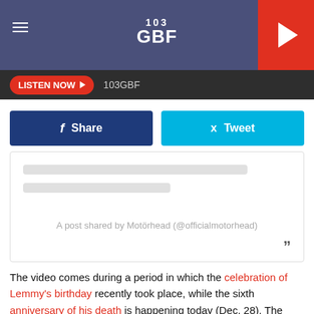103 GBF
LISTEN NOW  103GBF
[Figure (other): Facebook Share button and Twitter Tweet button]
[Figure (other): Embedded Motorhead Instagram post with loading placeholder bars and caption: A post shared by Motörhead (@officialmotorhead)]
The video comes during a period in which the celebration of Lemmy's birthday recently took place, while the sixth anniversary of his death is happening today (Dec. 28). The musician died at the age of 70 shortly after being diagnosed with cancer.
In recent celebration of Lemmy's birthday, a second volume